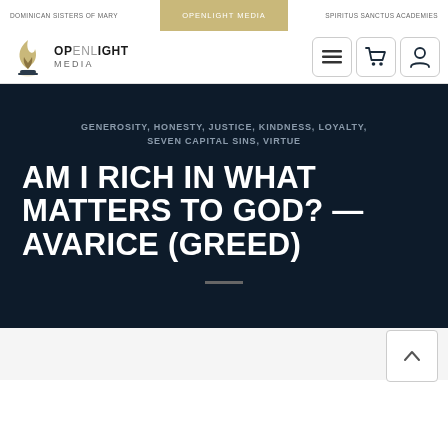DOMINICAN SISTERS OF MARY | OPENLIGHT MEDIA | SPIRITUS SANCTUS ACADEMIES
[Figure (logo): Openlight Media logo with flame icon and text OPENLIGHT MEDIA]
GENEROSITY, HONESTY, JUSTICE, KINDNESS, LOYALTY, SEVEN CAPITAL SINS, VIRTUE
AM I RICH IN WHAT MATTERS TO GOD? — AVARICE (GREED)